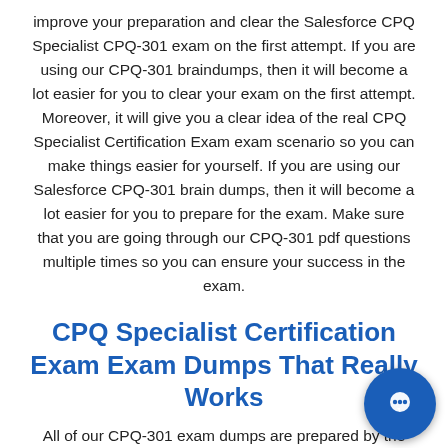improve your preparation and clear the Salesforce CPQ Specialist CPQ-301 exam on the first attempt. If you are using our CPQ-301 braindumps, then it will become a lot easier for you to clear your exam on the first attempt. Moreover, it will give you a clear idea of the real CPQ Specialist Certification Exam exam scenario so you can make things easier for yourself. If you are using our Salesforce CPQ-301 brain dumps, then it will become a lot easier for you to prepare for the exam. Make sure that you are going through our CPQ-301 pdf questions multiple times so you can ensure your success in the exam.
CPQ Specialist Certification Exam Exam Dumps That Really Works
All of our CPQ-301 exam dumps are prepared by the experts and you won't face any problems while using them. Moreover, you can consider our CPQ-301 pdf du... reliable source of preparation as we have a 5-sta... and excellent reviews by our customers. If you are using